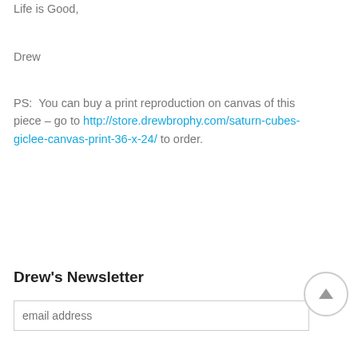Life is Good,
Drew
PS:  You can buy a print reproduction on canvas of this piece – go to http://store.drewbrophy.com/saturn-cubes-giclee-canvas-print-36-x-24/ to order.
READ MORE
Drew's Newsletter
email address